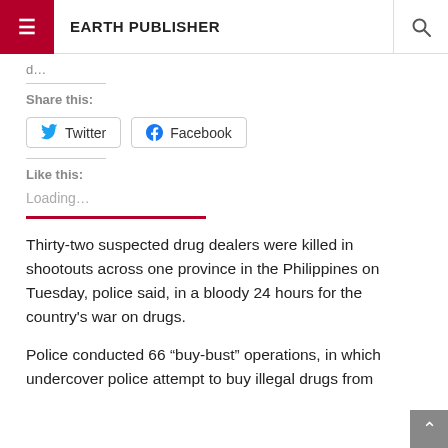EARTH PUBLISHER
d…
Share this:
Twitter
Facebook
Like this:
Loading…
Thirty-two suspected drug dealers were killed in shootouts across one province in the Philippines on Tuesday, police said, in a bloody 24 hours for the country's war on drugs.
Police conducted 66 “buy-bust” operations, in which undercover police attempt to buy illegal drugs from suspected dealers, in the province of Bulacan, just north…